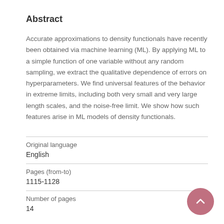Abstract
Accurate approximations to density functionals have recently been obtained via machine learning (ML). By applying ML to a simple function of one variable without any random sampling, we extract the qualitative dependence of errors on hyperparameters. We find universal features of the behavior in extreme limits, including both very small and very large length scales, and the noise-free limit. We show how such features arise in ML models of density functionals.
| Original language | English |
| Pages (from-to) | 1115-1128 |
| Number of pages | 14 |